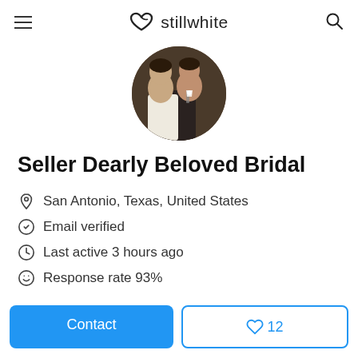stillwhite
[Figure (photo): Circular profile photo of a couple, bride and groom, dressed in wedding attire]
Seller Dearly Beloved Bridal
San Antonio, Texas, United States
Email verified
Last active 3 hours ago
Response rate 93%
Response time within an hour